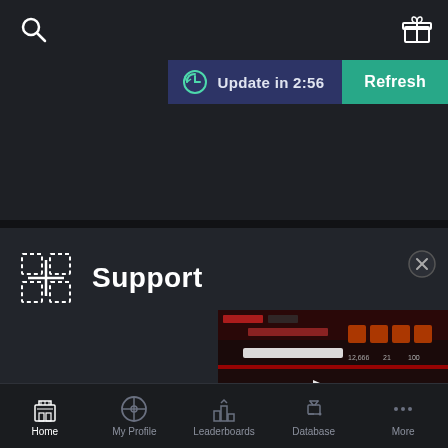[Figure (screenshot): Top bar with dark background, search icon on left, gift icon on right]
Update in 2:56
Refresh
Support
[Figure (screenshot): Thumbnail of Bloodhunt Stats website with play button overlay]
Home
My Profile
Leaderboards
Database
More